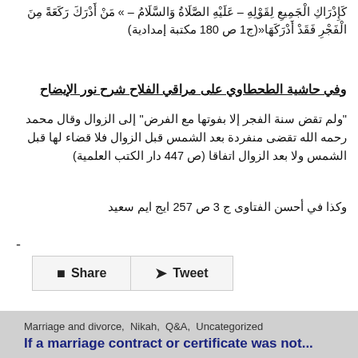كَإِدْرَاكِ الْجَمِيعِ لِقَوْلِهِ – عَلَيْهِ الصَّلَاةُ وَالسَّلَامُ – » مَنْ أَدْرَكَ رَكَعَةً مِنَ الْفَجْرِ فَقَدْ أَدْرَكَهَا«(ج1 ص 180 مكتبة إمدادية)
وفي حاشية الطحطاوي على مراقي الفلاح شرح نور الإيضاح
"ولم تقض سنة الفجر إلا بفوتها مع الفرض" إلى الزوال وقال محمد رحمه الله تقضى منفردة بعد الشمس قبل الزوال فلا قضاء لها قبل الشمس ولا بعد الزوال اتفاقا (ص 447 دار الكتب العلمية)
وكذا في أحسن الفتاوى ج 3 ص 257 ايج ايم سعيد
-
Share  Tweet
Marriage and divorce, Nikah, Q&A, Uncategorized
If a marriage contract or certificate was not...